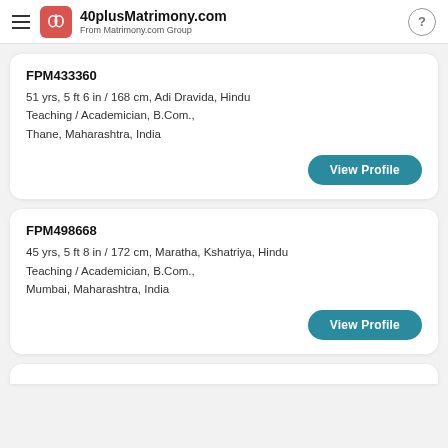40plusMatrimony.com — From Matrimony.com Group
FPM433360
51 yrs, 5 ft 6 in / 168 cm, Adi Dravida, Hindu
Teaching / Academician, B.Com.,
Thane, Maharashtra, India
View Profile
FPM498668
45 yrs, 5 ft 8 in / 172 cm, Maratha, Kshatriya, Hindu
Teaching / Academician, B.Com.,
Mumbai, Maharashtra, India
View Profile